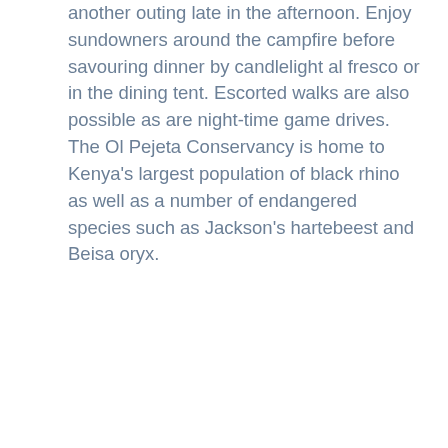another outing late in the afternoon. Enjoy sundowners around the campfire before savouring dinner by candlelight al fresco or in the dining tent. Escorted walks are also possible as are night-time game drives. The Ol Pejeta Conservancy is home to Kenya's largest population of black rhino as well as a number of endangered species such as Jackson's hartebeest and Beisa oryx.